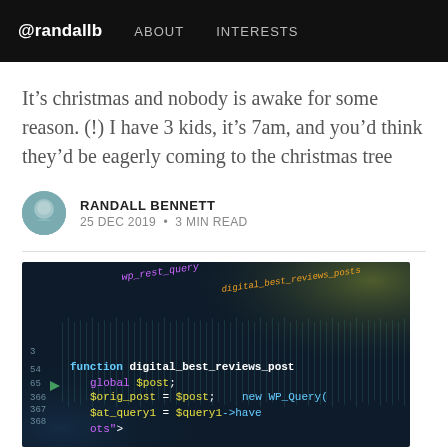@randallb  ABOUT  INTERESTS
It’s christmas and nobody is awake for some reason. (!) I have 3 kids, it’s 7am, and you’d think they’d be eagerly coming to the christmas tree
RANDALL BENNETT
25 DEC 2019 • 3 MIN READ
[Figure (photo): Close-up photo of a code editor showing PHP/WordPress code with syntax highlighting on a dark background. Visible code includes: function digital_best_reviews_post, global $post, $orig_post = $post, new WP_Query, $at_query1 = $query1->have, line numbers 3, 54, 65, 366, 367, 368, wp_reset_query text visible at top.]